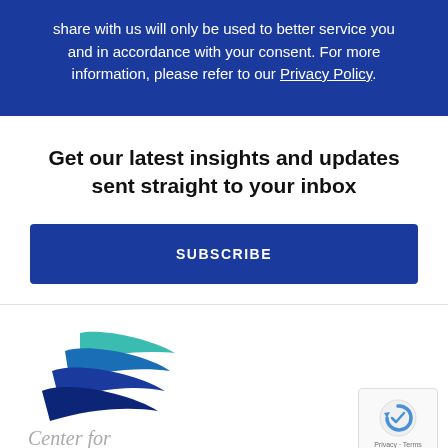share with us will only be used to better service you and in accordance with your consent. For more information, please refer to our Privacy Policy.
Get our latest insights and updates sent straight to your inbox
SUBSCRIBE
[Figure (logo): Center for organization logo with stylized wing/feather shapes in blue and teal, with text 'Center for' below in gray]
[Figure (other): Google reCAPTCHA widget showing blue/gray circular arrow icon with 'Privacy - Terms' text below]